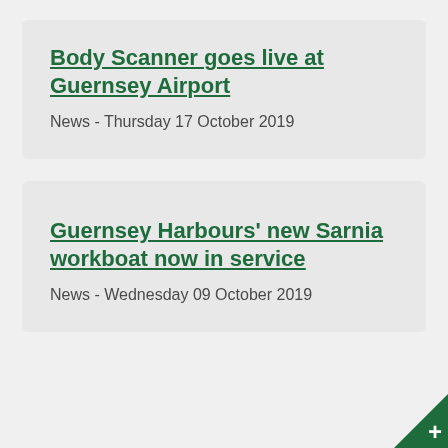Body Scanner goes live at Guernsey Airport
News - Thursday 17 October 2019
Guernsey Harbours' new Sarnia workboat now in service
News - Wednesday 09 October 2019